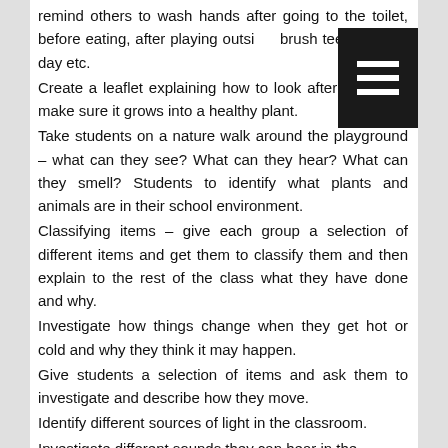remind others to wash hands after going to the toilet, before eating, after playing outside, brush teeth twice a day etc.
Create a leaflet explaining how to look after a seed to make sure it grows into a healthy plant.
Take students on a nature walk around the playground – what can they see? What can they hear? What can they smell? Students to identify what plants and animals are in their school environment.
Classifying items – give each group a selection of different items and get them to classify them and then explain to the rest of the class what they have done and why.
Investigate how things change when they get hot or cold and why they think it may happen.
Give students a selection of items and ask them to investigate and describe how they move.
Identify different sources of light in the classroom.
Investigate different sounds they can hear in the